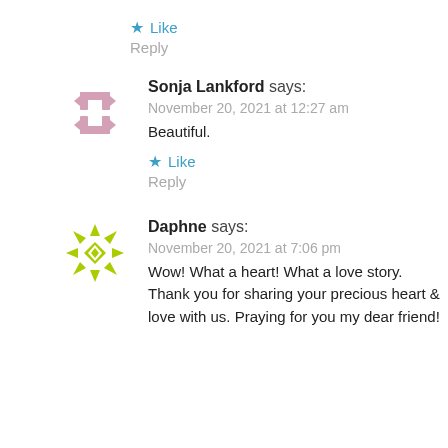Like
Reply
[Figure (illustration): Pink geometric avatar icon made of L-shaped bracket pieces arranged in a cross/pinwheel pattern]
Sonja Lankford says:
November 20, 2021 at 12:27 am
Beautiful.
Like
Reply
[Figure (illustration): Yellow-green geometric snowflake/star avatar icon made of triangular and diamond shapes]
Daphne says:
November 20, 2021 at 7:06 pm
Wow! What a heart! What a love story. Thank you for sharing your precious heart & love with us. Praying for you my dear friend!